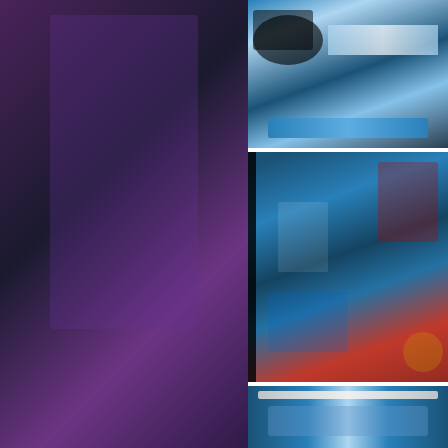[Figure (photo): Photo from The Rockabilly - Ink N Iron Car, Art & Tattoo Expo showing a person in red near a red car]
The Rockabilly - Ink N Iron Car, Art & Tattoo Expo - Long Beach, California
[Figure (photo): Photo from Lincoln Park Day - 5th Annual Corazon De El Paso Art & Car Show showing a person at a car show]
Lincoln Park Day - 5th Annual Corazon De El Paso Art & Car Show
[Figure (photo): Dark purple-toned photo, likely a nighttime car show scene]
[Figure (photo): Close-up photo of a blue and white car interior/dashboard]
[Figure (photo): Large photo showing detailed artwork/mural on a car, lowrider with painted scenes including figures]
[Figure (photo): Close-up photo of chrome trim on a blue car with artwork visible]